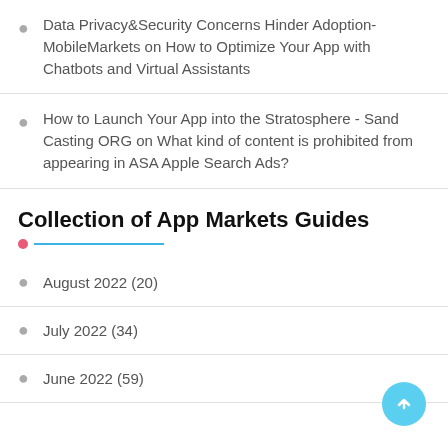Data Privacy&Security Concerns Hinder Adoption-MobileMarkets on How to Optimize Your App with Chatbots and Virtual Assistants
How to Launch Your App into the Stratosphere - Sand Casting ORG on What kind of content is prohibited from appearing in ASA Apple Search Ads?
Collection of App Markets Guides
August 2022 (20)
July 2022 (34)
June 2022 (59)